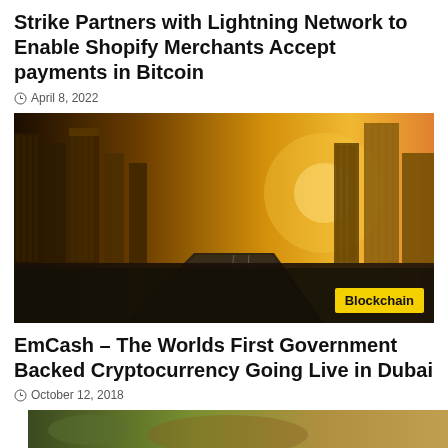Strike Partners with Lightning Network to Enable Shopify Merchants Accept payments in Bitcoin
April 8, 2022
[Figure (photo): Aerial view of Dubai skyscrapers and highway at golden sunset, with a yellow 'Blockchain' tag in the bottom right corner]
EmCash – The Worlds First Government Backed Cryptocurrency Going Live in Dubai
October 12, 2018
[Figure (photo): Partial view of a photo at the bottom of the page, cut off]